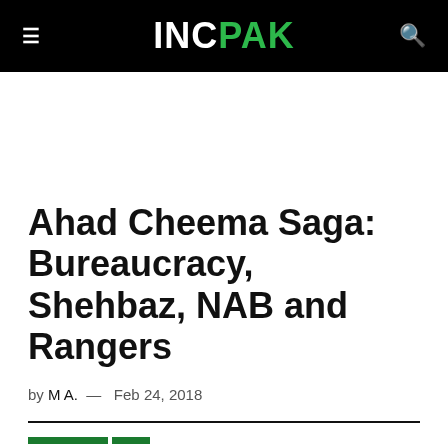INC PAK
Ahad Cheema Saga: Bureaucracy, Shehbaz, NAB and Rangers
by M A.  —  Feb 24, 2018